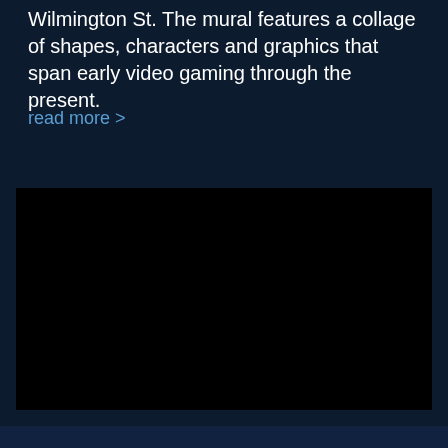Wilmington St. The mural features a collage of shapes, characters and graphics that span early video gaming through the present.
read more >
[Figure (photo): A large black rectangular image area, likely an embedded video or photo with no visible content (appears fully black).]